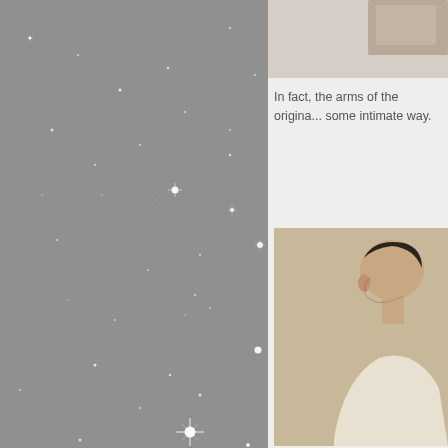[Figure (photo): Gray background with scattered white star/sparkle light points of varying sizes]
[Figure (photo): Small partial image visible at top right, showing edge of an object on light background]
In fact, the arms of the origina... some intimate way.
[Figure (photo): Side profile of a person with dark hair wearing white, viewed from the right side, against a beige/tan wall background]